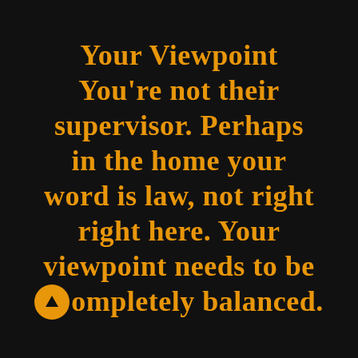Your Viewpoint
You're not their supervisor. Perhaps in the home your word is law, not right right here. Your viewpoint needs to be completely balanced.